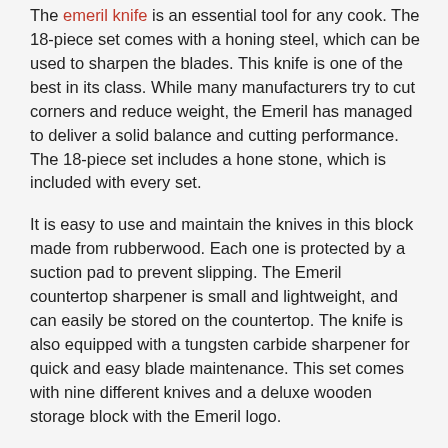The emeril knife is an essential tool for any cook. The 18-piece set comes with a honing steel, which can be used to sharpen the blades. This knife is one of the best in its class. While many manufacturers try to cut corners and reduce weight, the Emeril has managed to deliver a solid balance and cutting performance. The 18-piece set includes a hone stone, which is included with every set.
It is easy to use and maintain the knives in this block made from rubberwood. Each one is protected by a suction pad to prevent slipping. The Emeril countertop sharpener is small and lightweight, and can easily be stored on the countertop. The knife is also equipped with a tungsten carbide sharpener for quick and easy blade maintenance. This set comes with nine different knives and a deluxe wooden storage block with the Emeril logo.
The Emeril knife block comes with a Tungsten Carbide sharpener. It is durable and lightweight, and offers excellent countertop storage. The blades cut easily and precisely. The knives come with a stainless steel handle, which is made of hollow stainless steel. The forged carbon steel handles provide an elegant look, and the Tungsten Carbide sharpener is small enough to store in your pocket.